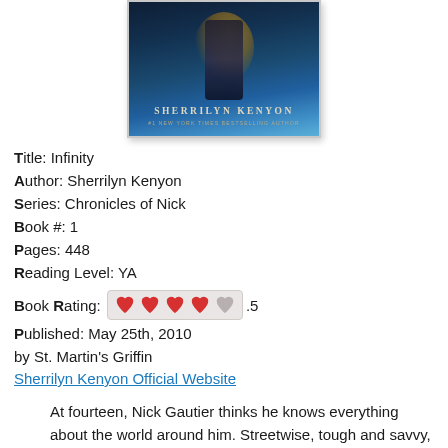[Figure (illustration): Book cover showing a dark figure against a blue mystical background, with text 'SHERRILYN KENYON' and '#1 NEW YORK TIMES BESTSELLING AUTHOR']
Title: Infinity
Author: Sherrilyn Kenyon
Series: Chronicles of Nick
Book #: 1
Pages: 448
Reading Level: YA
Book Rating: 4.5 (shown with 4 full hearts and 1 empty heart)
Published: May 25th, 2010
by St. Martin's Griffin
Sherrilyn Kenyon Official Website
At fourteen, Nick Gautier thinks he knows everything about the world around him. Streetwise, tough and savvy, his quick sarcasm is the stuff of legends… until the night when his